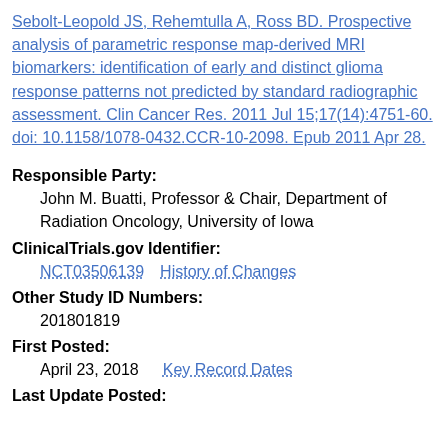Sebolt-Leopold JS, Rehemtulla A, Ross BD. Prospective analysis of parametric response map-derived MRI biomarkers: identification of early and distinct glioma response patterns not predicted by standard radiographic assessment. Clin Cancer Res. 2011 Jul 15;17(14):4751-60. doi: 10.1158/1078-0432.CCR-10-2098. Epub 2011 Apr 28.
Responsible Party:
John M. Buatti, Professor & Chair, Department of Radiation Oncology, University of Iowa
ClinicalTrials.gov Identifier:
NCT03506139    History of Changes
Other Study ID Numbers:
201801819
First Posted:
April 23, 2018    Key Record Dates
Last Update Posted: